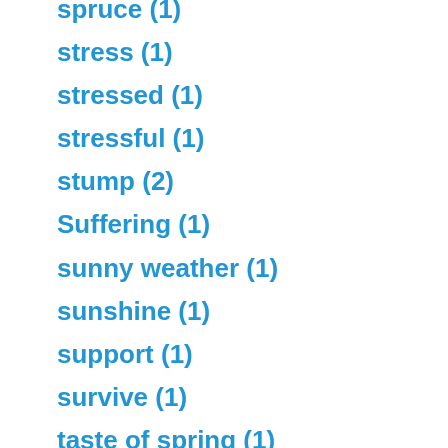spruce (1)
stress (1)
stressed (1)
stressful (1)
stump (2)
Suffering (1)
sunny weather (1)
sunshine (1)
support (1)
survive (1)
taste of spring (1)
tenacious (1)
thank you (1)
thanksgiving (2)
The Shadow Effect (1)
thermometer (1)